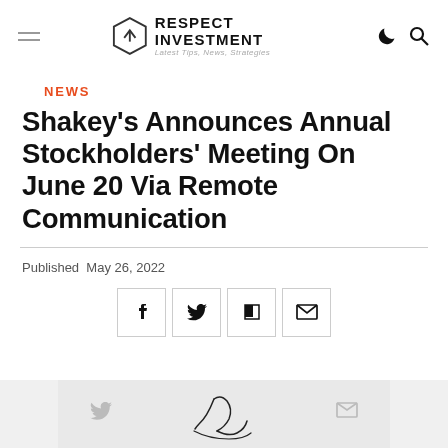RESPECT INVESTMENT — Latest Tips, News, Strategies
NEWS
Shakey's Announces Annual Stockholders' Meeting On June 20 Via Remote Communication
Published May 26, 2022
[Figure (other): Social share buttons: Facebook, Twitter, Flipboard, Email]
[Figure (photo): Partially visible image strip at bottom of page showing a signature/handwriting graphic on a light grey background]